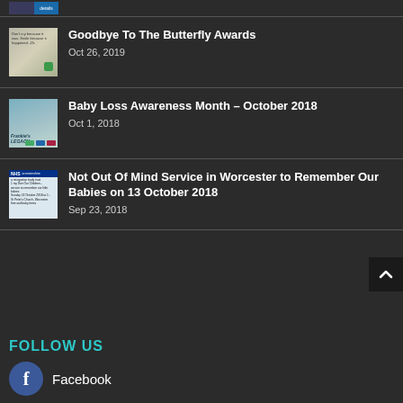Goodbye To The Butterfly Awards
Oct 26, 2019
Baby Loss Awareness Month – October 2018
Oct 1, 2018
Not Out Of Mind Service in Worcester to Remember Our Babies on 13 October 2018
Sep 23, 2018
FOLLOW US
Facebook